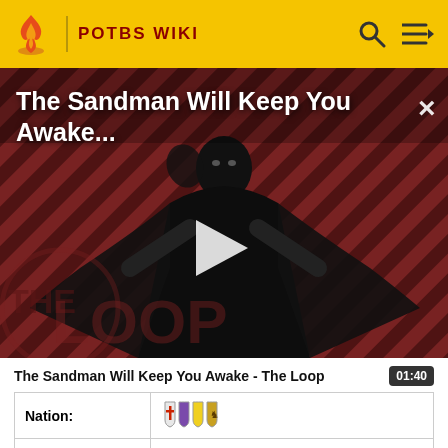POTBS WIKI
[Figure (screenshot): Video thumbnail for 'The Sandman Will Keep You Awake - The Loop' showing a dark-cloaked figure against red diagonal striped background with a play button in the center and 'THE LOOP' watermark at bottom left. An X close button is in the upper right.]
The Sandman Will Keep You Awake - The Loop  01:40
| Nation: | 🛡️🛡️🛡️🛡️ |
| Career: | All |
| Location: | Campeche |